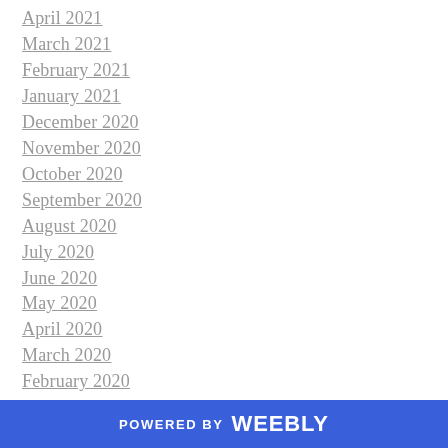April 2021
March 2021
February 2021
January 2021
December 2020
November 2020
October 2020
September 2020
August 2020
July 2020
June 2020
May 2020
April 2020
March 2020
February 2020
January 2020
December 2019
POWERED BY weebly